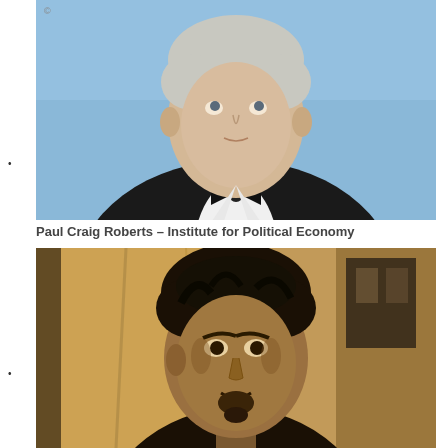[Figure (photo): Portrait photo of Paul Craig Roberts, an older white-haired man in a black tuxedo with bow tie, looking upward against a blue sky background.]
Paul Craig Roberts – Institute for Political Economy
[Figure (photo): Sepia-toned portrait photo of a younger man with dark tousled hair and a goatee, set against a distressed/aged background with architectural elements.]